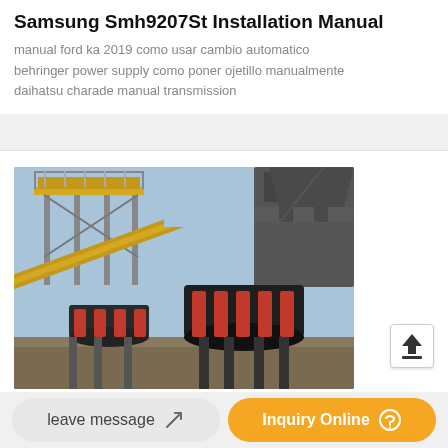Samsung Smh9207St Installation Manual
manual ford ka 2019 como usar cambio automatico behringer power supply como poner ojetillo manualmente daihatsu charade manual transmission
[Figure (photo): Industrial heavy machinery / mining or crushing plant with conveyor belts, large crusher units, steel structures and scaffolding against a blue sky]
leave message
Inquiry Online